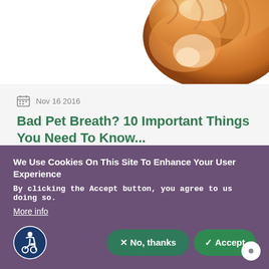[Figure (photo): Partial photo of an orange/golden fluffy dog or cat in the upper right corner against a white background]
Nov 16 2016
Bad Pet Breath? 10 Important Things You Need To Know...
Does your fido or fluffy have bad breath? That offensive odor could signify serious health risks for you beloved
We Use Cookies On This Site To Enhance Your User Experience
By clicking the Accept button, you agree to us doing so.
More info